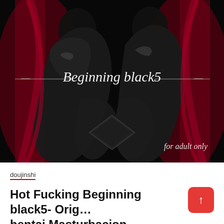[Figure (illustration): Dark anime-style illustration showing two figures in black latex/shiny suits against a deep red and black background. White decorative text overlay reads '— Beginning black5 —' in cursive style in the center, and 'for adult only' in italic script at the bottom right of the image.]
doujinshi
Hot Fucking Beginning black5- Original hentai Masturbacion